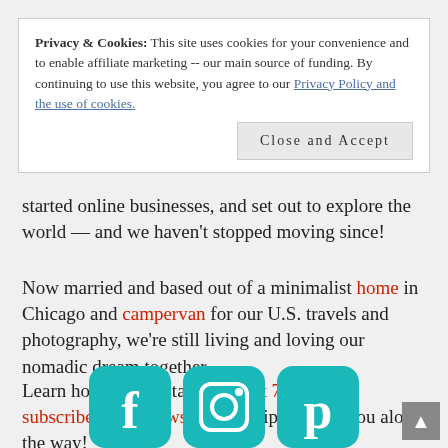Privacy & Cookies: This site uses cookies for your convenience and to enable affiliate marketing -- our main source of funding. By continuing to use this website, you agree to our Privacy Policy and the use of cookies. [Close and Accept button]
started online businesses, and set out to explore the world — and we haven't stopped moving since!
Now married and based out of a minimalist home in Chicago and campervan for our U.S. travels and photography, we're still living and loving our nomadic dream together.
Learn how we got started in just 7 steps and subscribe to our newsletter for tips to help you along the way!
[Figure (illustration): Three teal rounded-square social media icons: Facebook (f), Instagram (camera), Pinterest (P)]